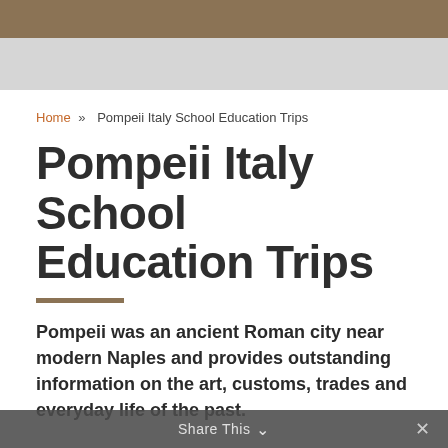Home » Pompeii Italy School Education Trips
Pompeii Italy School Education Trips
Pompeii was an ancient Roman city near modern Naples and provides outstanding information on the art, customs, trades and everyday life of the past.
Share This ∨  ×